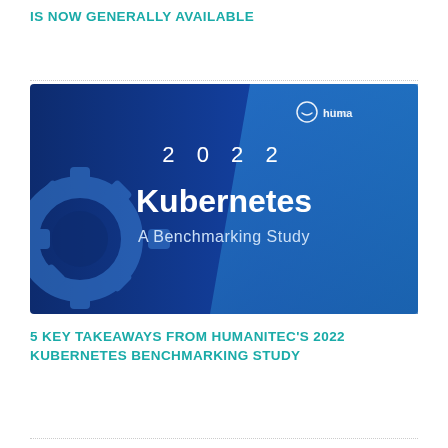IS NOW GENERALLY AVAILABLE
[Figure (illustration): A blue-themed slide cover image showing '2022 Kubernetes A Benchmarking Study' with a gear icon on the left and the Humanitec logo in the upper right corner.]
5 KEY TAKEAWAYS FROM HUMANITEC'S 2022 KUBERNETES BENCHMARKING STUDY